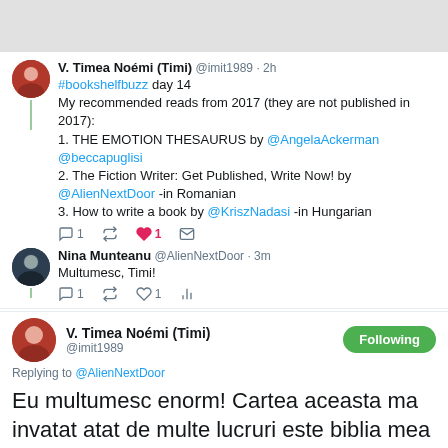[Figure (screenshot): Screenshot of a Twitter conversation. First tweet by V. Timea Noémi (Timi) @imit1989 2h: #bookshelfbuzz day 14. My recommended reads from 2017 (they are not published in 2017): 1. THE EMOTION THESAURUS by @AngelaAckerman @beccapuglisi 2. The Fiction Writer: Get Published, Write Now! by @AlienNextDoor -in Romanian 3. How to write a book by @KriszNadasi -in Hungarian. Reply by Nina Munteanu @AlienNextDoor 3m: Multumesc, Timi! Then a profile card for V. Timea Noémi (Timi) @imit1989 with Following button. Replying to @AlienNextDoor. Large text: Eu multumesc enorm! Cartea aceasta ma invatat atat de multe lucruri este biblia mea de scriitor. Din pacate nu prea se gasesc carti despre scriere creativa in tara si m-am bucurat tare mult sa gasesc aceasta carte. Translate from Romanian link.]